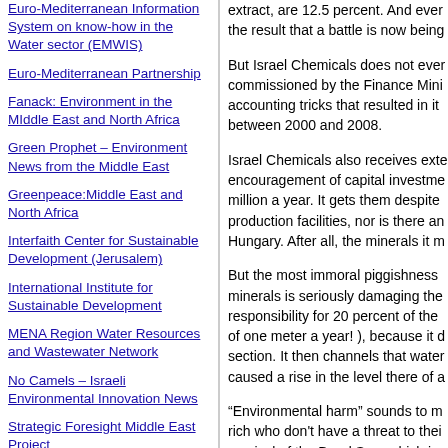Euro-Mediterranean Information System on know-how in the Water sector (EMWIS)
Euro-Mediterranean Partnership
Fanack: Environment in the MIddle East and North Africa
Green Prophet – Environment News from the Middle East
Greenpeace:Middle East and North Africa
Interfaith Center for Sustainable Development (Jerusalem)
International Institute for Sustainable Development
MENA Region Water Resources and Wastewater Network
No Camels – Israeli Environmental Innovation News
Strategic Foresight Middle East Project
This Week in Palestine: Environmental Challenges
extract, are 12.5 percent. And ever the result that a battle is now being
But Israel Chemicals does not ever commissioned by the Finance Mini accounting tricks that resulted in it between 2000 and 2008.
Israel Chemicals also receives exte encouragement of capital investme million a year. It gets them despite production facilities, nor is there an Hungary. After all, the minerals it m
But the most immoral piggishness minerals is seriously damaging the responsibility for 20 percent of the of one meter a year! ), because it d section. It then channels that water caused a rise in the level there of a
“Environmental harm” sounds to m rich who don't have a threat to thei survival of the Dead Sea, which is threatened. And this threat affects a